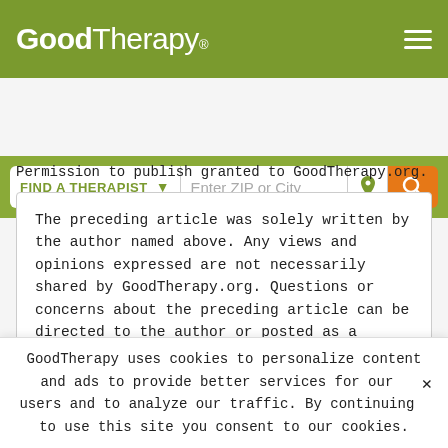GoodTherapy®
[Figure (screenshot): GoodTherapy website header with logo and hamburger menu icon on olive green background, and a search bar below with 'FIND A THERAPIST' dropdown, 'Enter ZIP or City' input, location pin icon, and orange search button]
Permission to publish granted to GoodTherapy.org.
The preceding article was solely written by the author named above. Any views and opinions expressed are not necessarily shared by GoodTherapy.org. Questions or concerns about the preceding article can be directed to the author or posted as a comment below.
READ MORE
GoodTherapy uses cookies to personalize content and ads to provide better services for our users and to analyze our traffic. By continuing to use this site you consent to our cookies.